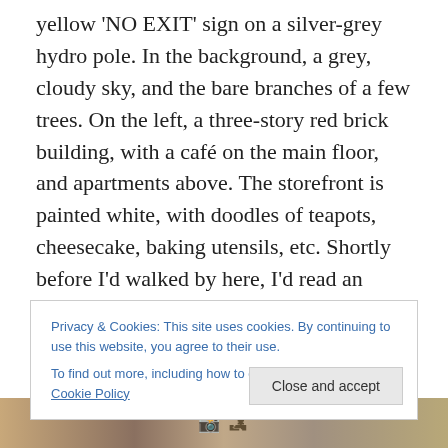yellow 'NO EXIT' sign on a silver-grey hydro pole. In the background, a grey, cloudy sky, and the bare branches of a few trees. On the left, a three-story red brick building, with a café on the main floor, and apartments above. The storefront is painted white, with doodles of teapots, cheesecake, baking utensils, etc. Shortly before I'd walked by here, I'd read an article about how the owner, struggling to get the new business open at all, had been engaged in a fight with the city to use the corner sidewalk as a private patio for customers only, instead of as a public, communal space. The owner won. It's private. I decided I would never
Privacy & Cookies: This site uses cookies. By continuing to use this website, you agree to their use.
To find out more, including how to control cookies, see here: Cookie Policy
[Figure (photo): Partial bottom strip of a photo, showing what appears to be a street scene with graffiti or signage visible.]